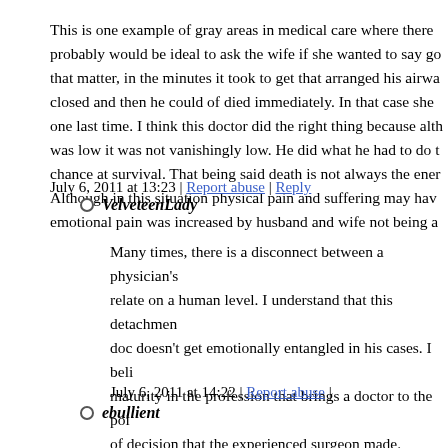This is one example of gray areas in medical care where there probably would be ideal to ask the wife if she wanted to say go that matter, in the minutes it took to get that arranged his airwa closed and then he could of died immediately. In that case she one last time. I think this doctor did the right thing because alth was low it was not vanishingly low. He did what he had to do t chance at survival. That being said death is not always the ener Although in this situation physical pain and suffering may hav emotional pain was increased by husband and wife not being a
July 6, 2011 at 13:23 | Report abuse | Reply
VelveteenLady
Many times, there is a disconnect between a physician's relate on a human level. I understand that this detachmen doc doesn't get emotionally entangled in his cases. I beli maturity in the profession that brings a doctor to the poi of decision that the experienced surgeon made. However doctor becoming too detached. I have stopped being the have had the choice. Unfortunately, there are times (suc patient has no choice.
July 6, 2011 at 14:22 | Report abuse |
ebullient